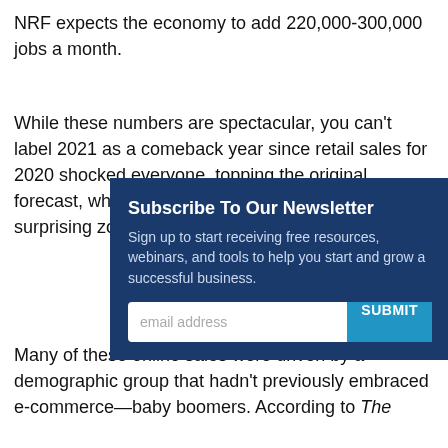NRF expects the economy to add 220,000-300,000 jobs a month.
While these numbers are spectacular, you can't label 2021 as a comeback year since retail sales for 2020 shocked everyone, topping the original forecast, which wa... grew 6.7%... doubling t... most of us... surprising... zoomed t...
Subscribe To Our Newsletter
Sign up to start receiving free resources, webinars, and tools to help you start and grow a successful business.
Many of these online sales were driven by a demographic group that hadn't previously embraced e-commerce—baby boomers. According to The